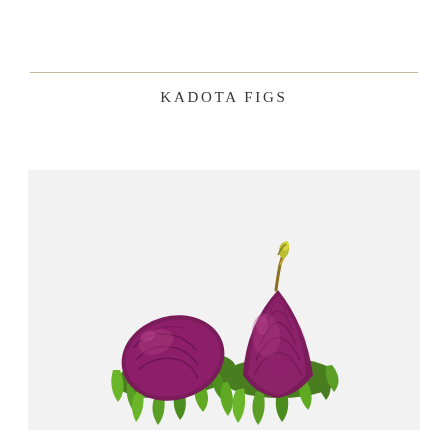KADOTA FIGS
[Figure (illustration): Two dark purple/magenta Kadota figs with bright green leafy bases, illustrated in a realistic style against a light gray background. One fig is shown upright with a yellow-green stem tip and the other is slightly lower and tilted.]